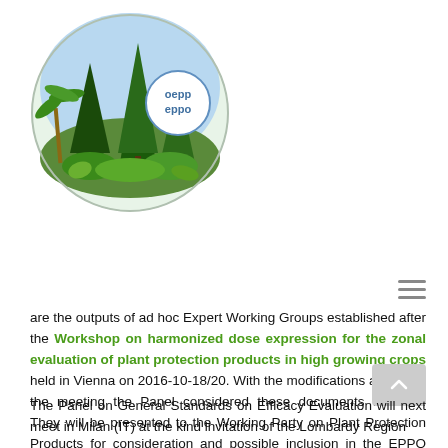[Figure (logo): OEPP EPPO organization logo showing trees and circular badge with text 'oepp eppo']
are the outputs of ad hoc Expert Working Groups established after the Workshop on harmonized dose expression for the zonal evaluation of plant protection products in high growing crops held in Vienna on 2016-10-18/20. With the modifications agreed at the meeting the Panel considered these documents finalized. They will be presented to the Working Party on Plant Protection Products for consideration and possible inclusion in the EPPO Standard PP 1/239 Dose expression for plant protection products.
The Panel on General Standards on Efficacy Evaluation will next meet in Milan (IT) at the kind invitation of the Lombardy Region